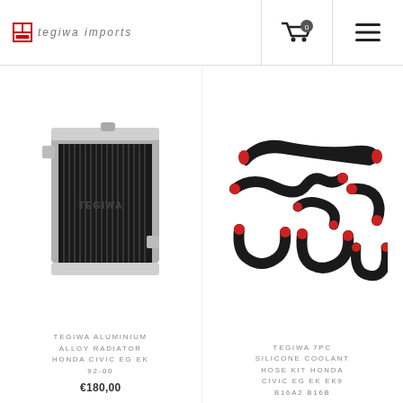Tegiwa Imports — header with cart (0) and menu
[Figure (photo): Tegiwa aluminium alloy radiator product photo]
TEGIWA ALUMINIUM ALLOY RADIATOR HONDA CIVIC EG EK 92-00
€180,00
[Figure (photo): Tegiwa 7pc silicone coolant hose kit product photo — black hoses with red ends]
TEGIWA 7PC SILICONE COOLANT HOSE KIT HONDA CIVIC EG EK EK9 B16A2 B16B